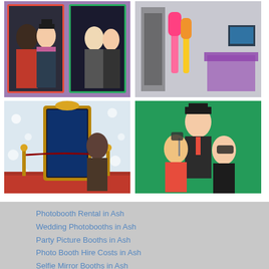[Figure (photo): Top-left photo: Two people posing in a photo booth with colorful rainbow frames - a woman with a feather boa and a man in a top hat, plus another pair in smaller frame]
[Figure (photo): Top-right photo: Photo booth setup with colorful guitar props and a table with draped cloth]
[Figure (photo): Bottom-left photo: Magic mirror selfie booth with ornate golden frame on a red carpet with velvet rope barriers, in a white draped venue]
[Figure (photo): Bottom-right photo: Three people posing with masquerade masks and props against a green backdrop - man in black hat, woman in red, woman with lace mask]
Photobooth Rental in Ash
Wedding Photobooths in Ash
Party Picture Booths in Ash
Photo Booth Hire Costs in Ash
Selfie Mirror Booths in Ash